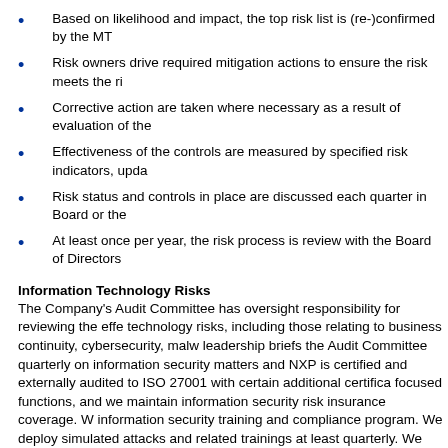Based on likelihood and impact, the top risk list is (re-)confirmed by the MT
Risk owners drive required mitigation actions to ensure the risk meets the ri
Corrective action are taken where necessary as a result of evaluation of the
Effectiveness of the controls are measured by specified risk indicators, upda
Risk status and controls in place are discussed each quarter in Board or the
At least once per year, the risk process is review with the Board of Directors
Information Technology Risks
The Company's Audit Committee has oversight responsibility for reviewing the effe technology risks, including those relating to business continuity, cybersecurity, malw leadership briefs the Audit Committee quarterly on information security matters and NXP is certified and externally audited to ISO 27001 with certain additional certifica focused functions, and we maintain information security risk insurance coverage. W information security training and compliance program. We deploy simulated attacks and related trainings at least quarterly. We deliver a Cybe library of cyber security learning sessions available to our employees.
NXP uses a multi-layer approach to identify and mitigate information security risks. Center (SOC) that actively monitors for and identifies cyber security threats and init Security Incident Response Team (CSIRT). Where needed a task force containing S established. This task force leads mitigation activities where the potential threat or r employees are trained to identify Cyber Security issues and to escalate them to cor management program is a component of the ERM process described above. NXP's risks identified in the ERM process, performing an initial risk assessment, prioritiz